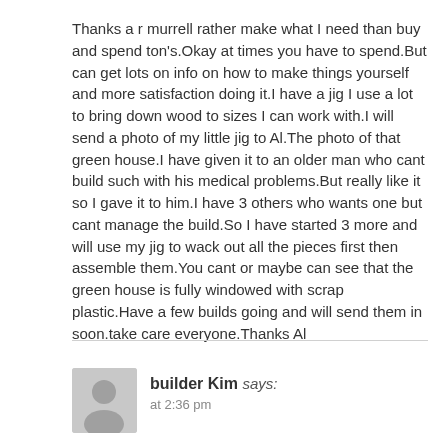Thanks a r murrell rather make what I need than buy and spend ton's.Okay at times you have to spend.But can get lots on info on how to make things yourself and more satisfaction doing it.I have a jig I use a lot to bring down wood to sizes I can work with.I will send a photo of my little jig to Al.The photo of that green house.I have given it to an older man who cant build such with his medical problems.But really like it so I gave it to him.I have 3 others who wants one but cant manage the build.So I have started 3 more and will use my jig to wack out all the pieces first then assemble them.You cant or maybe can see that the green house is fully windowed with scrap plastic.Have a few builds going and will send them in soon.take care everyone.Thanks Al
builder Kim says: at 2:36 pm